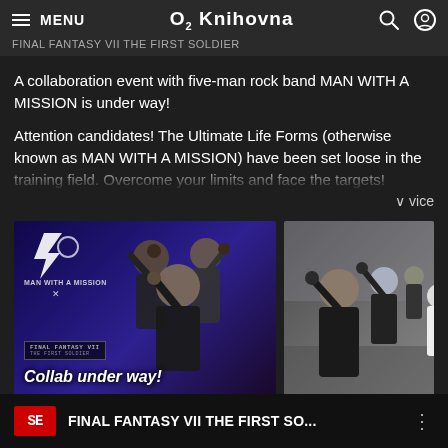MENU  O2 Knihovna
FINAL FANTASY VII THE FIRST SOLDIER
A collaboration event with five-man rock band MAN WITH A MISSION is under way!
Attention candidates! The Ultimate Life Forms (otherwise known as MAN WITH A MISSION) have been set loose in the training field. Overcome your limits and face the targets!
vice
[Figure (screenshot): Game screenshot showing MAN WITH A MISSION wolf characters in suits with text 'Collab under way!' and game logos]
[Figure (screenshot): Game screenshot showing wolf-headed characters in suits raising fists in a street environment]
FINAL FANTASY VII THE FIRST SO...